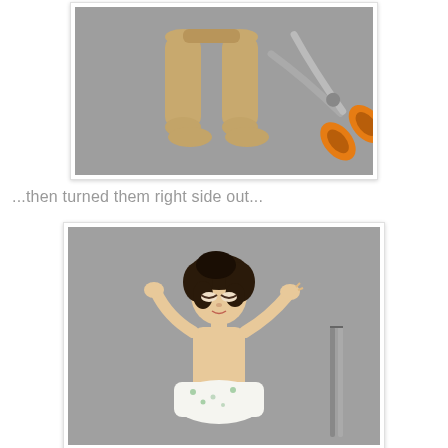[Figure (photo): Photo of two tan/beige nylon stockings laid flat on a gray surface, with orange-handled scissors visible on the right side]
...then turned them right side out...
[Figure (photo): Photo of a vintage doll with dark curly hair, arms raised, wearing a white floral skirt, with tweezers/scissors visible on the right side, placed against a gray background]